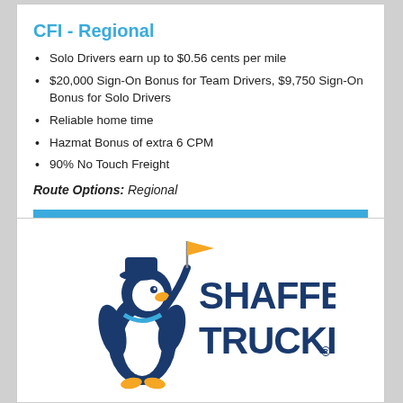CFI - Regional
Solo Drivers earn up to $0.56 cents per mile
$20,000 Sign-On Bonus for Team Drivers, $9,750 Sign-On Bonus for Solo Drivers
Reliable home time
Hazmat Bonus of extra 6 CPM
90% No Touch Freight
Route Options: Regional
APPLY NOW
[Figure (logo): Shaffer Trucking logo with cartoon penguin mascot holding a flag, blue text reading SHAFFER TRUCKING with registered trademark symbol]